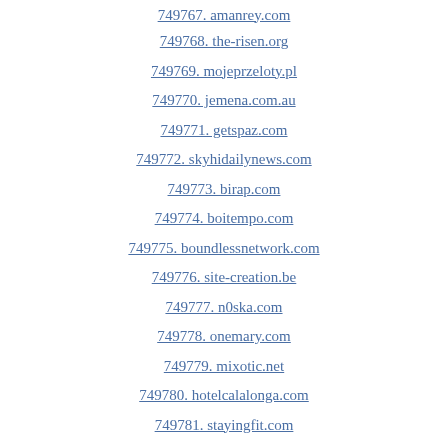749767. amanrey.com
749768. the-risen.org
749769. mojeprzeloty.pl
749770. jemena.com.au
749771. getspaz.com
749772. skyhidailynews.com
749773. birap.com
749774. boitempo.com
749775. boundlessnetwork.com
749776. site-creation.be
749777. n0ska.com
749778. onemary.com
749779. mixotic.net
749780. hotelcalalonga.com
749781. stayingfit.com